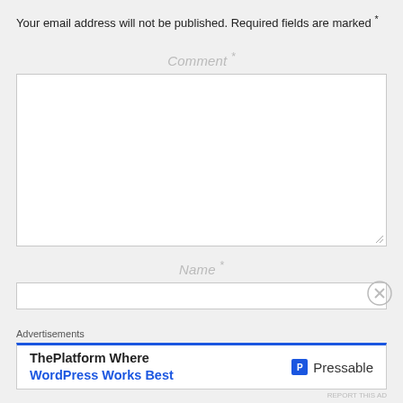Your email address will not be published. Required fields are marked *
Comment *
Name *
Advertisements
[Figure (infographic): Advertisement banner for Pressable: 'ThePlatform Where WordPress Works Best' with Pressable logo]
REPORT THIS AD